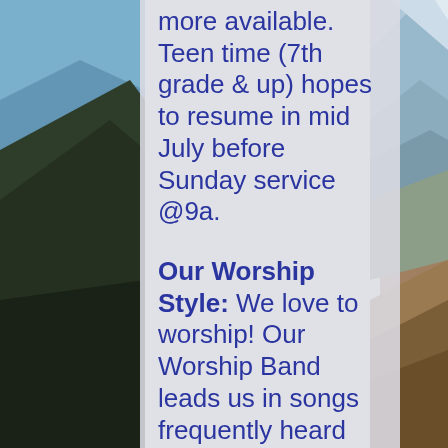[Figure (photo): Mountain landscape background with blue sky and layered mountain ridges, brown rocky terrain in foreground]
more available. Teen time (7th grade & up) hopes to resume in mid July before Sunday service @9a.

Our Worship Style: We love to worship! Our Worship Band leads us in songs frequently heard on Christian radio along with a taste of traditional hymns with a contemporary flair! Our children to the...